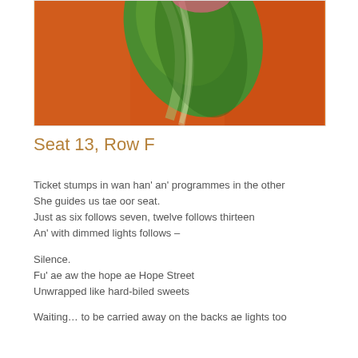[Figure (photo): Close-up photo of a green leaf or leaves on a vivid orange background, partially cropped at top.]
Seat 13, Row F
Ticket stumps in wan han' an' programmes in the other
She guides us tae oor seat.
Just as six follows seven, twelve follows thirteen
An' with dimmed lights follows –

Silence.
Fu' ae aw the hope ae Hope Street
Unwrapped like hard-biled sweets

Waiting… to be carried away on the backs ae lights too